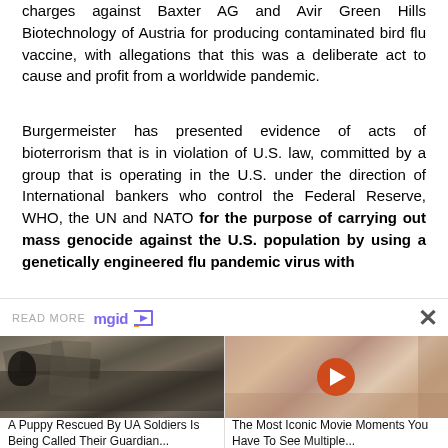charges against Baxter AG and Avir Green Hills Biotechnology of Austria for producing contaminated bird flu vaccine, with allegations that this was a deliberate act to cause and profit from a worldwide pandemic.
Burgermeister has presented evidence of acts of bioterrorism that is in violation of U.S. law, committed by a group that is operating in the U.S. under the direction of International bankers who control the Federal Reserve, WHO, the UN and NATO for the purpose of carrying out mass genocide against the U.S. population by using a genetically engineered flu pandemic virus with
[Figure (screenshot): Advertisement bar with READ MORE text and mgid logo with play arrow, and a close X button]
[Figure (photo): Two thumbnail images side by side: left shows a soldier in rubble with a puppy (dark military scene), right shows a movie scene with two people indoors (warmer tones) with a YouTube-style play button overlay]
A Puppy Rescued By UA Soldiers Is Being Called Their Guardian...
The Most Iconic Movie Moments You Have To See Multiple...